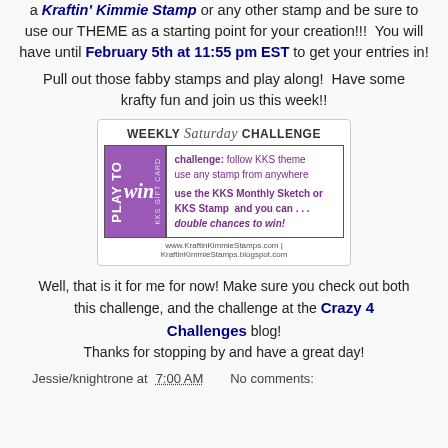a Kraftin' Kimmie Stamp or any other stamp and be sure to use our THEME as a starting point for your creation!!!  You will have until February 5th at 11:55 pm EST to get your entries in!
Pull out those fabby stamps and play along!  Have some krafty fun and join us this week!!
[Figure (illustration): Weekly Saturday Challenge badge showing 'PLAY TO WIN KKS GIFT CARD' on purple left panel and challenge rules on right: follow KKS theme, use any stamp from anywhere, use the KKS Monthly Sketch or KKS Stamp and you can double chances to win. Website URLs shown at bottom.]
Well, that is it for me for now! Make sure you check out both this challenge, and the challenge at the Crazy 4 Challenges blog! Thanks for stopping by and have a great day!
Jessie/knightrone at 7:00 AM   No comments: